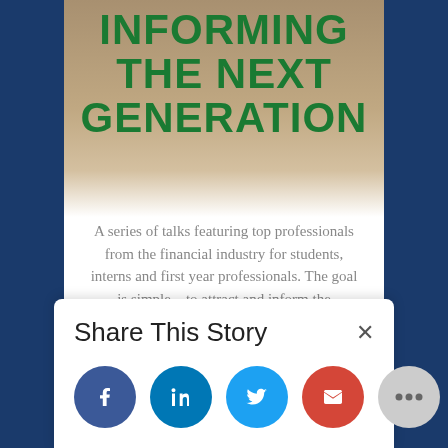[Figure (photo): A partially visible promotional image with a dark blue sidebar background, a center card showing a blurred event/conference scene with people, and large bold green uppercase text reading 'INFORMING THE NEXT GENERATION' overlaid on the image.]
INFORMING THE NEXT GENERATION
A series of talks featuring top professionals from the financial industry for students, interns and first year professionals. The goal is simple – to attract and inform the
Share This Story